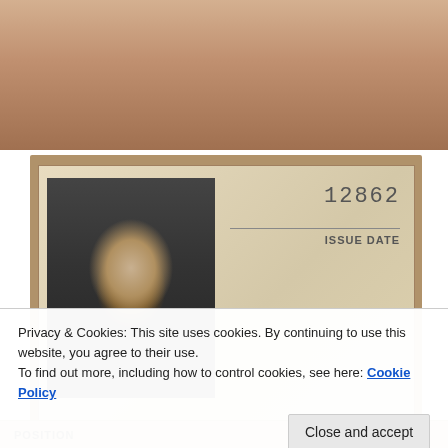[Figure (photo): Top portion of image showing a hand holding an ID card against a surface]
[Figure (photo): Expo 86 World Exposition staff or visitor ID card. Number 12862, Issue Date field, with Expo 86 logo and text: The 1986 World Exposition, Vancouver, British Columbia, Canada, May 2 - October 13, 1986. Photo of a bearded man with long dark hair.]
Privacy & Cookies: This site uses cookies. By continuing to use this website, you agree to their use.
To find out more, including how to control cookies, see here: Cookie Policy
Close and accept
POSITION